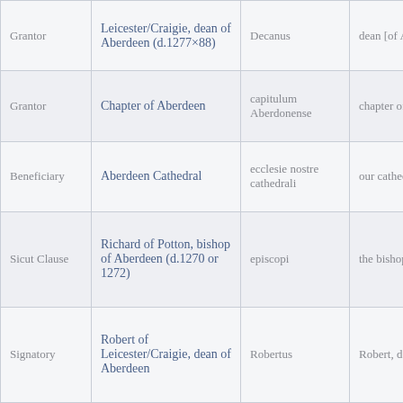| Role | Name | Latin | English |
| --- | --- | --- | --- |
| Grantor | Leicester/Craigie, dean of Aberdeen (d.1277×88) | Decanus | dean [of Aberdeen] |
| Grantor | Chapter of Aberdeen | capitulum Aberdonense | chapter of Aberdeen |
| Beneficiary | Aberdeen Cathedral | ecclesie nostre cathedrali | our cathedral church |
| Sicut Clause | Richard of Potton, bishop of Aberdeen (d.1270 or 1272) | episcopi | the bishop |
| Signatory | Robert of Leicester/Craigie, dean of Aberdeen | Robertus | Robert, dean |